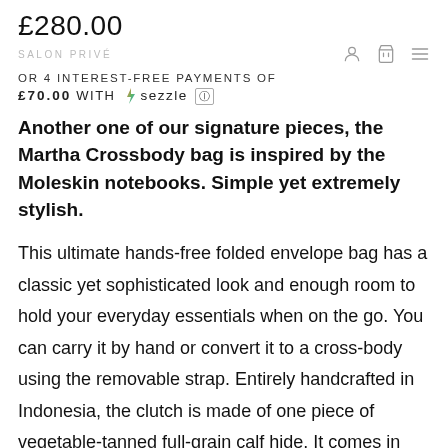£280.00
SALON PRIVÉ
OR 4 INTEREST-FREE PAYMENTS OF £70.00 WITH sezzle
Another one of our signature pieces, the Martha Crossbody bag is inspired by the Moleskin notebooks. Simple yet extremely stylish.
This ultimate hands-free folded envelope bag has a classic yet sophisticated look and enough room to hold your everyday essentials when on the go. You can carry it by hand or convert it to a cross-body using the removable strap. Entirely handcrafted in Indonesia, the clutch is made of one piece of vegetable-tanned full-grain calf hide. It comes in both black and tawny brown, and each is lined with a different material, depending on what the women